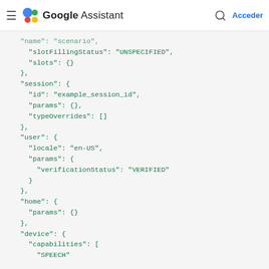Google Assistant — Acceder
"name": "scenario",
    "slotFillingStatus": "UNSPECIFIED",
    "slots": {}
  },
  "session": {
    "id": "example_session_id",
    "params": {},
    "typeOverrides": []
  },
  "user": {
    "locale": "en-US",
    "params": {
      "verificationStatus": "VERIFIED"
    }
  },
  "home": {
    "params": {}
  },
  "device": {
    "capabilities": [
      "SPEECH"